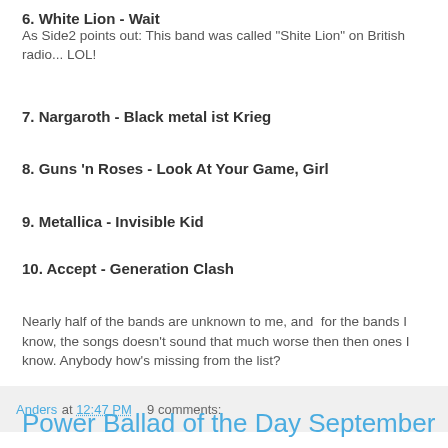6. White Lion - Wait
As Side2 points out: This band was called "Shite Lion" on British radio... LOL!
7. Nargaroth - Black metal ist Krieg
8. Guns 'n Roses - Look At Your Game, Girl
9. Metallica - Invisible Kid
10. Accept - Generation Clash
Nearly half of the bands are unknown to me, and  for the bands I know, the songs doesn't sound that much worse then then ones I know. Anybody how's missing from the list?
Anders at 12:47 PM    9 comments:
Power Ballad of the Day September